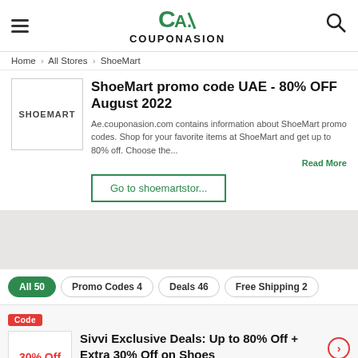COUPONASION
Home > All Stores > ShoeMart
ShoeMart promo code UAE - 80% OFF August 2022
Ae.couponasion.com contains information about ShoeMart promo codes. Shop for your favorite items at ShoeMart and get up to 80% off. Choose the...
Go to shoemartstor...
All 50  Promo Codes 4  Deals 46  Free Shipping 2
Code
Sivvi Exclusive Deals: Up to 80% Off + Extra 30% Off on Shoes
Ends 28-08-22